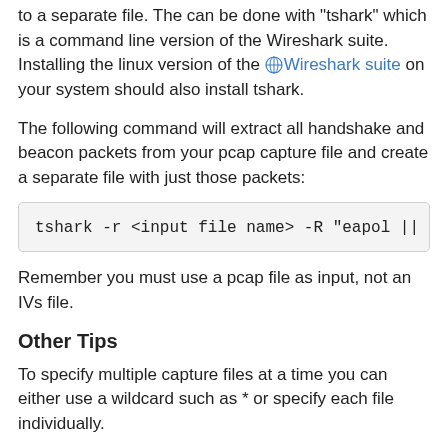to a separate file. The can be done with "tshark" which is a command line version of the Wireshark suite. Installing the linux version of the Wireshark suite on your system should also install tshark.
The following command will extract all handshake and beacon packets from your pcap capture file and create a separate file with just those packets:
tshark -r <input file name> -R "eapol ||
Remember you must use a pcap file as input, not an IVs file.
Other Tips
To specify multiple capture files at a time you can either use a wildcard such as * or specify each file individually.